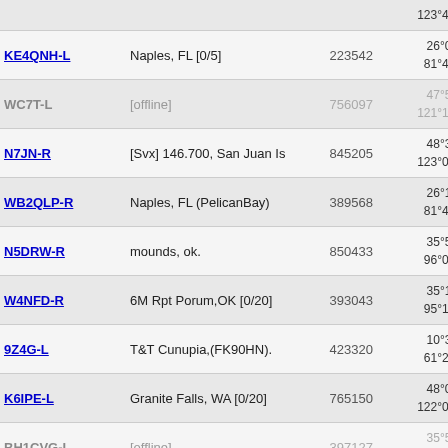| Callsign | Location | ID | Coordinates | Grid |
| --- | --- | --- | --- | --- |
|  |  |  | 123°49.68' W |  |
| KE4QNH-L | Naples, FL [0/5] | 223542 | 26°09.96' N 81°42.95' W | EL96dd |
| WC7T-L [offline] | [offline] | 756097 | 47°56.96' N 121°16.74' W | CN97iw |
| N7JN-R | [Svx] 146.700, San Juan Is | 845205 | 48°33.53' N 123°07.08' W | CN88kn |
| WB2QLP-R | Naples, FL (PelicanBay) | 389568 | 26°10.39' N 81°48.25' W | EL96ce |
| N5DRW-R | mounds, ok. | 850433 | 35°50.95' N 96°07.67' W | EM15wu |
| W4NFD-R | 6M Rpt Porum,OK [0/20] | 393043 | 35°19.92' N 95°17.75' W | EM25ih |
| 9Z4G-L | T&T Cunupia,(FK90HN). | 423320 | 10°33.53' N 61°22.07' W | FK90hn |
| K6IPE-L | Granite Falls, WA [0/20] | 765150 | 48°06.84' N 122°03.54' W | CN88xc |
| BH1CVG-L [offline] | [offline] | 397127 | 35°50.81' N 120°01.14' E | PM05au |
| KM0I-L | Hattiesburg, MS [0/20] | 820162 | 31°19.62' N 89°17.34' W | EM51ih |
| WA0VJR-L | Wallace, KS [0/20] | 790800 | 38°54.60' N | DM98fv |